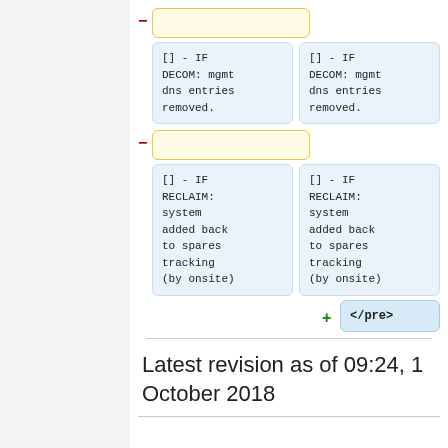[Figure (screenshot): Diff view showing two rows of code diff blocks. First row: a yellow minus-sign box (collapsed/empty) on the left, with two blue code boxes side by side showing '[] - IF DECOM: mgmt dns entries removed.' Second row: another yellow minus-sign box, with two blue code boxes showing '[] - IF RECLAIM: system added back to spares tracking (by onsite)', and a plus-sign blue box with '</pre>' text.]
Latest revision as of 09:24, 1 October 2018